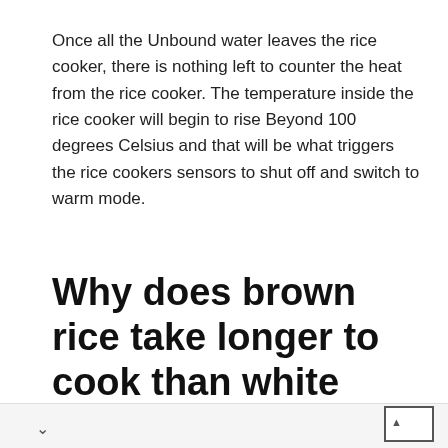Once all the Unbound water leaves the rice cooker, there is nothing left to counter the heat from the rice cooker. The temperature inside the rice cooker will begin to rise Beyond 100 degrees Celsius and that will be what triggers the rice cookers sensors to shut off and switch to warm mode.
Why does brown rice take longer to cook than white rice?